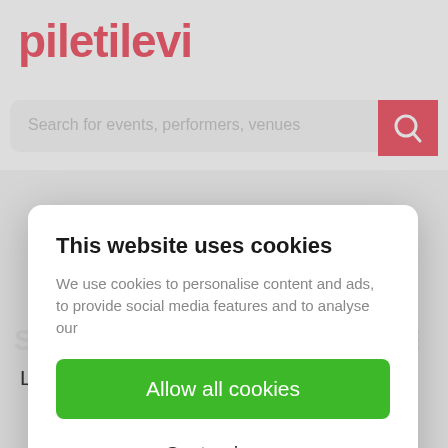[Figure (logo): piletilevi logo in red bold text]
[Figure (screenshot): Search bar with placeholder text 'Search for events, performers, venues' and red search icon button]
This website uses cookies
We use cookies to personalise content and ads, to provide social media features and to analyse our
Allow all cookies
Customize >
Powered by Cookiebot by Usercentrics
Latvia